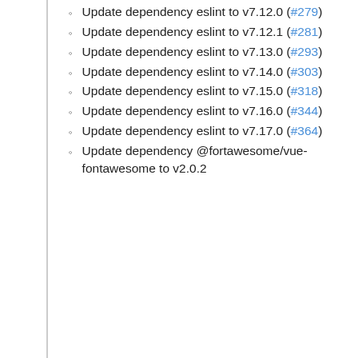Update dependency eslint to v7.12.0 (#279)
Update dependency eslint to v7.12.1 (#281)
Update dependency eslint to v7.13.0 (#293)
Update dependency eslint to v7.14.0 (#303)
Update dependency eslint to v7.15.0 (#318)
Update dependency eslint to v7.16.0 (#344)
Update dependency eslint to v7.17.0 (#364)
Update dependency @fortawesome/vue-fontawesome to v2.0.2